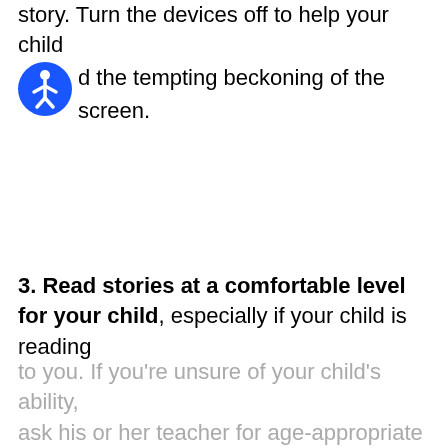story. Turn the devices off to help your child avoid the tempting beckoning of the screen.
[Figure (illustration): Blue circle accessibility icon with a human figure (wheelchair/person symbol) in white]
3. Read stories at a comfortable level for your child, especially if your child is reading to you. If you're unsure of your child's ability, ask his or her teacher for age-appropriate...
to you. If you're unsure of your child's ability, ask his or her teacher for age-appropriate